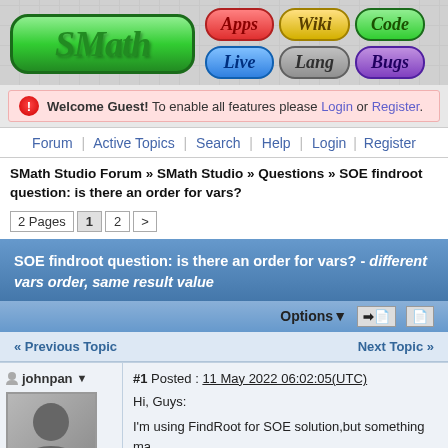[Figure (logo): SMath Studio logo with navigation buttons: Apps, Wiki, Code, Live, Lang, Bugs]
Welcome Guest! To enable all features please Login or Register.
Forum | Active Topics | Search | Help | Login | Register
SMath Studio Forum » SMath Studio » Questions » SOE findroot question: is there an order for vars?
2 Pages  1  2  >
SOE findroot question: is there an order for vars? - different vars order, same result value
Options  ➔
« Previous Topic      Next Topic »
#1 Posted : 11 May 2022 06:02:05(UTC)
johnpan
[Figure (photo): Default user avatar - silhouette of person with question mark]
Hi, Guys:
I'm using FindRoot for SOE solution,but something ma